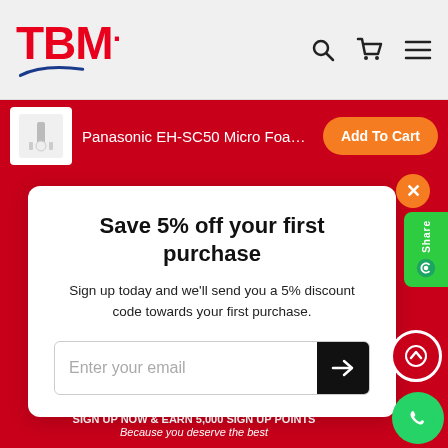[Figure (logo): TBM logo with red text and blue swoosh underline]
[Figure (infographic): Header icons: search, cart, hamburger menu]
[Figure (screenshot): Add to cart bar with product thumbnail, Panasonic EH-SC50 Micro Foami... text and Add To Cart orange button]
Save 5% off your first purchase
Sign up today and we'll send you a 5% discount code towards your first purchase.
Enter your email
SHOP NOW
+T&C apply
Axtra Rewards
SIGN UP NOW & earn 5,000 sign up points
Because you deserve the best